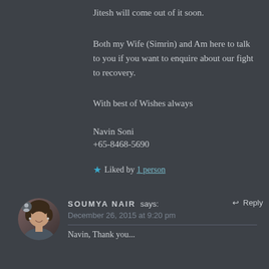Jitesh will come out of it soon.
Both my Wife (Simrin) and Am here to talk to you if you want to enquire about our fight to recovery.
With best of Wishes always
Navin Soni
+65-8468-5690
★ Liked by 1 person
SOUMYA NAIR says: December 26, 2015 at 9:20 pm
Navin, Thank you...